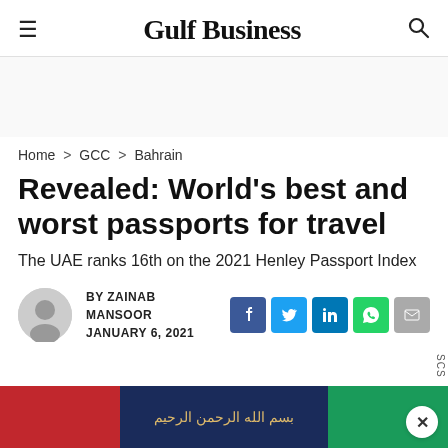Gulf Business
Home > GCC > Bahrain
Revealed: World's best and worst passports for travel
The UAE ranks 16th on the 2021 Henley Passport Index
BY ZAINAB MANSOOR
JANUARY 6, 2021
[Figure (screenshot): UAE passport banner image at the bottom of the page with red, navy, and green sections and Arabic text]